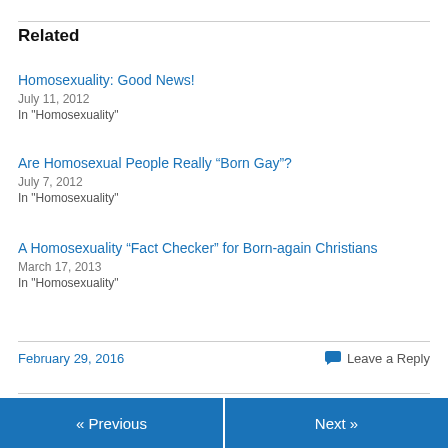Related
Homosexuality: Good News!
July 11, 2012
In "Homosexuality"
Are Homosexual People Really “Born Gay”?
July 7, 2012
In "Homosexuality"
A Homosexuality “Fact Checker” for Born-again Christians
March 17, 2013
In "Homosexuality"
February 29, 2016
Leave a Reply
« Previous   Next »